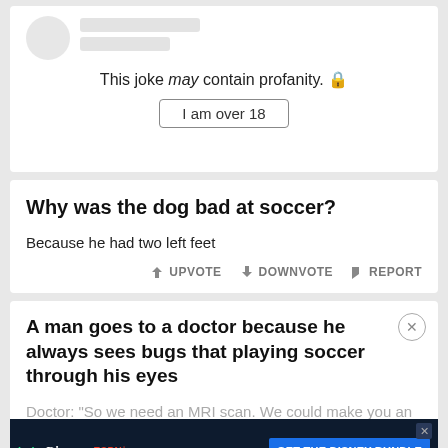This joke may contain profanity. 🔒
I am over 18
Why was the dog bad at soccer?
Because he had two left feet
UPVOTE   DOWNVOTE   REPORT
A man goes to a doctor because he always sees bugs that playing soccer through his eyes
Doctor: "So we need an MRI scan. We could make you an appointment next sunday." The [blurred] ...nday is the...
[Figure (screenshot): Disney Bundle advertisement banner showing Hulu, Disney+, ESPN+ logos with 'GET THE DISNEY BUNDLE' call to action button]